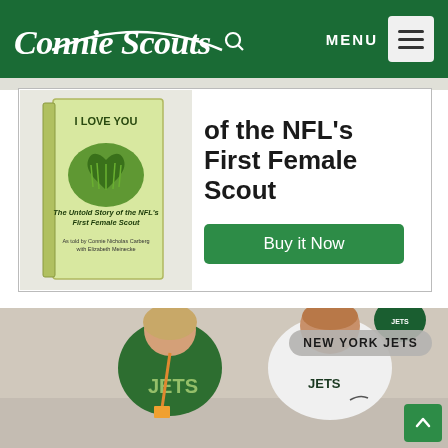Connie Scouts — MENU
[Figure (screenshot): Book cover for 'The Untold Story of the NFL's First Female Scout' with grass heart design and text 'I LOVE YOU', authored by Connie Nicholas Carberg with Elizabeth Meinecke]
of the NFL's First Female Scout
Buy it Now
[Figure (photo): Photo of two people posing together — a woman in a green New York Jets t-shirt with orange lanyard, and a taller man in a white Jets polo shirt. A NEW YORK JETS label overlay appears in the upper right.]